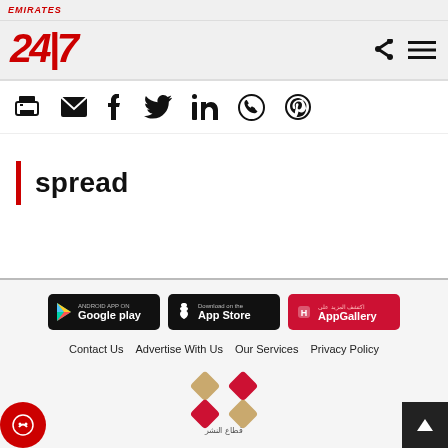EMIRATES 24|7 - news website header with logo and navigation icons
[Figure (screenshot): Social sharing icons row: print, email, facebook, twitter, linkedin, whatsapp, pinterest]
spread
[Figure (screenshot): App store download buttons: Google Play, App Store, AppGallery]
Contact Us   Advertise With Us   Our Services   Privacy Policy
[Figure (logo): Qitatalnashr Arabic publisher logo - red and beige X cross shape with Arabic text below]